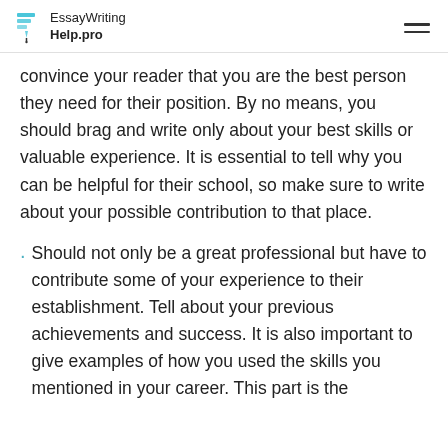EssayWriting Help.pro
convince your reader that you are the best person they need for their position. By no means, you should brag and write only about your best skills or valuable experience. It is essential to tell why you can be helpful for their school, so make sure to write about your possible contribution to that place.
Should not only be a great professional but have to contribute some of your experience to their establishment. Tell about your previous achievements and success. It is also important to give examples of how you used the skills you mentioned in your career. This part is the